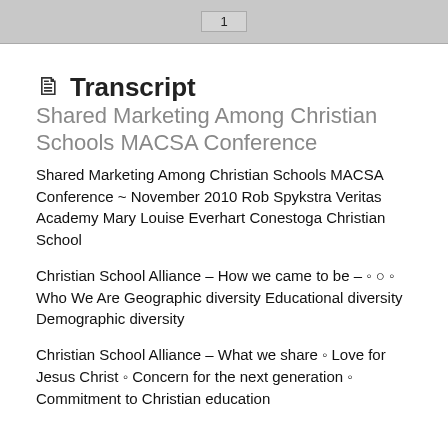1
Transcript  Shared Marketing Among Christian Schools MACSA Conference
Shared Marketing Among Christian Schools MACSA Conference ~ November 2010 Rob Spykstra Veritas Academy Mary Louise Everhart Conestoga Christian School
Christian School Alliance – How we came to be – ○ ○ ○ Who We Are Geographic diversity Educational diversity Demographic diversity
Christian School Alliance – What we share ○ Love for Jesus Christ ○ Concern for the next generation ○ Commitment to Christian education